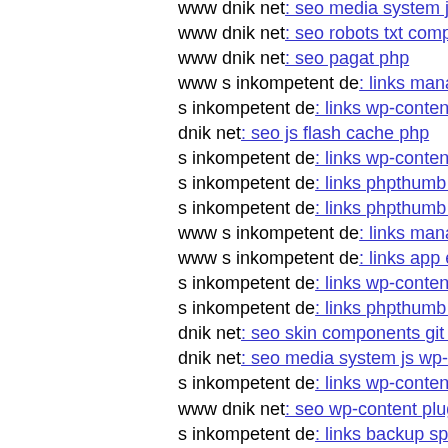www dnik net: seo media system js skin media system js h
www dnik net: seo robots txt components com portfolio s i
www dnik net: seo pagat php
www s inkompetent de: links manager skin wp-content plu
s inkompetent de: links wp-content themes simplepress co
dnik net: seo js flash cache php
s inkompetent de: links wp-content plugins simplepress too
s inkompetent de: links phpthumb api wp-content themes s
s inkompetent de: links phpthumb plugins phpthumb api s
www s inkompetent de: links manager skin wp-content plu
www s inkompetent de: links app etc skintybfa
s inkompetent de: links wp-content plugins wp-mobile-det
s inkompetent de: links phpthumb components com maian
dnik net: seo skin components git head
dnik net: seo media system js wp-admin includes plugins c
s inkompetent de: links wp-content plugins formcraft file-u
www dnik net: seo wp-content pluginsb'lxlgbk
s inkompetent de: links backup spicons back gif
www s inkompetent de: links app etc skin jwallpapers files
s inkompetent de: links app etc skin skin wp-content plugin